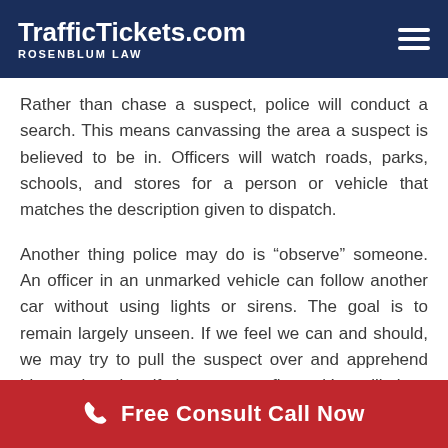TrafficTickets.com ROSENBLUM LAW
Rather than chase a suspect, police will conduct a search. This means canvassing the area a suspect is believed to be in. Officers will watch roads, parks, schools, and stores for a person or vehicle that matches the description given to dispatch.
Another thing police may do is “observe” someone. An officer in an unmarked vehicle can follow another car without using lights or sirens. The goal is to remain largely unseen. If we feel we can and should, we may try to pull the suspect over and apprehend him or her, but if the suspect flees, it’s unlikely a chase will follow.
Free Consult Call Now